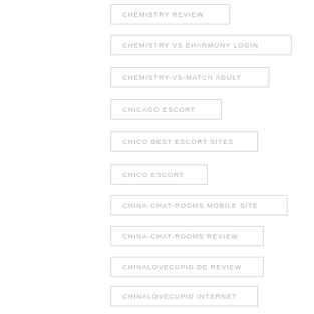CHEMISTRY REVIEW
CHEMISTRY VS EHARMONY LOGIN
CHEMISTRY-VS-MATCH ADULT
CHICAGO ESCORT
CHICO BEST ESCORT SITES
CHICO ESCORT
CHINA-CHAT-ROOMS MOBILE SITE
CHINA-CHAT-ROOMS REVIEW
CHINALOVECUPID DE REVIEW
CHINALOVECUPID INTERNET